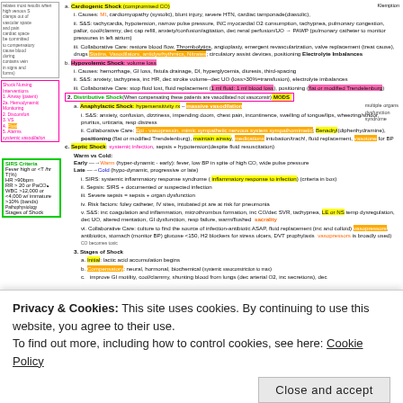Cardiogenic Shock (compromised CO)
Causes: MI, cardiomyopathy (systolic), blunt injury, severe HTN, cardiac tamponade (diastolic)
S&S: tachycardia, hypotension, narrow pulse pressure, INC myocardial O2 consumption, tachypnea, pulmonary congestion, pallor, cool/clammy, dec cap refill, anxiety/confusion/agitation, dec renal perfusion/UO → PAWP (pulmonary catheter to monitor pressures in left atrium)
Collaborative Care: restore blood flow, Thrombolytics, angioplasty, emergent revascularization, valve replacement (treat cause), drugs Statins, Vasodilators, antidysrhythmics, Nitrates; circulatory assist devices, positioning Electrolyte Imbalances
Hypovolemic Shock: volume loss
Causes: hemorrhage, GI loss, fistula drainage, DI, hyperglycemia, diuresis, third-spacing
S&S: anxiety, tachypnea, inc HR, dec stroke volume–dec UO (loss>30%=transfusion), electrolyte imbalances
Collaborative Care: stop fluid loss, fluid replacement (1 ml fluid: 1 ml blood loss), positioning (flat or modified Trendelenburg)
2. Distributive Shock (when compensating these patients are vasodilated not vasoconstric)
Anaphylactic Shock: hypersensitivity rx → massive vasodilation
S&S: anxiety, confusion, dizziness, impending doom, chest pain, incontinence, swelling of tongue/lips, wheezing/stridor, pruritus, urticaria, resp distress
Collaborative Care: Epi - vasopressin, mimic sympathetic nervous system - sympathomimetic; Benadryl (diphenhydramine), positioning (flat or modified Trendelenburg), maintain airway, medications intubation/trach!, fluid replacement, Vasotone for BP
Septic Shock: systemic infection, sepsis + hypotension (despite fluid resuscitation)
Warm vs Cold: Early →→ Warm (hyper-dynamic - early): fever, low BP in spite of high CO, wide pulse pressure; Late →→ Cold (hypo-dynamic, progressive or late)
SIRS: systemic inflammatory response syndrome (inflammatory response to infection) (criteria in box)
Sepsis: SIRS + documented or suspected infection
Severe sepsis = sepsis + organ dysfunction
Risk factors: foley catheter, IV sites, intubated pt are at risk for pneumonia
S&S: inc coagulation and inflammation, microthrombus formation, inc CO/dec SVR, tachypnea, temp dysregulation, dec UO, altered mentation, GI dysfunction, resp failure, warm/flushed
Collaborative Care: culture to find the source of infection-antibiotic ASAP, fluid replacement (inc and colloid) vasopressors, antibiotics, stomach (monitor BP) glucose <150, H2 blockers for stress ulcers, DVT prophylaxis
Stages of Shock
Initial: lactic acid accumulation begins
Compensatory: neural, hormonal, biochemical (systemic vasoconstriction to max)
Progressive: mobility, cool/clammy, shunting blood from lungs (dec arterial O2, inc secretions), dec
Privacy & Cookies: This site uses cookies. By continuing to use this website, you agree to their use.
To find out more, including how to control cookies, see here: Cookie Policy
Close and accept